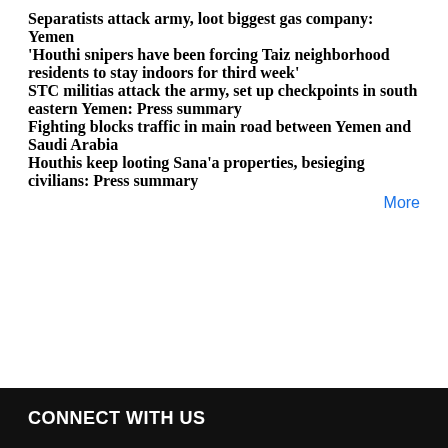Separatists attack army, loot biggest gas company: Yemen
'Houthi snipers have been forcing Taiz neighborhood residents to stay indoors for third week'
STC militias attack the army, set up checkpoints in south eastern Yemen: Press summary
Fighting blocks traffic in main road between Yemen and Saudi Arabia
Houthis keep looting Sana'a properties, besieging civilians: Press summary
More
CONNECT WITH US